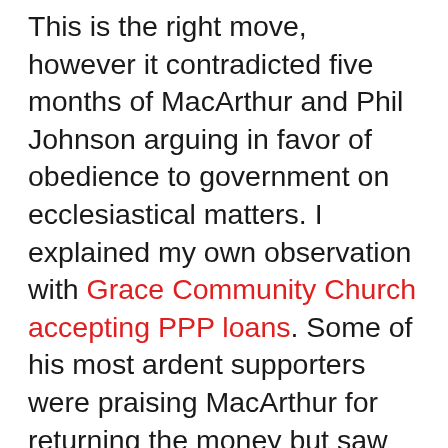This is the right move, however it contradicted five months of MacArthur and Phil Johnson arguing in favor of obedience to government on ecclesiastical matters. I explained my own observation with Grace Community Church accepting PPP loans. Some of his most ardent supporters were praising MacArthur for returning the money but saw nothing wrong with him applying for the money in the first place, meaning there was no reason to praise this decision. (Masters Seminary would receive funds after this all happened anyway.) The issue, as we discuss, is the level of papal infallibility that people seem to give John MacArthur. This has made Jeff a pariah to many.
Feeling called to ministry, Jeff went to college